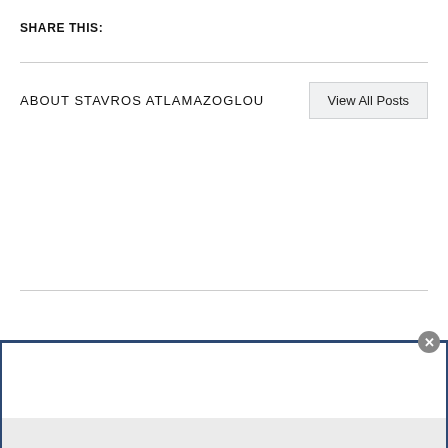SHARE THIS:
ABOUT STAVROS ATLAMAZOGLOU
View All Posts